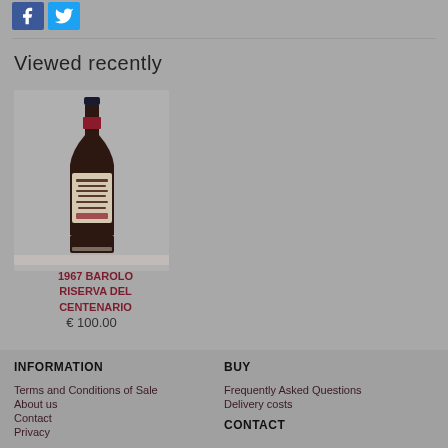[Figure (logo): Facebook and Twitter social media icon buttons at the top left]
Viewed recently
[Figure (photo): A bottle of 1967 Barolo Riserva del Centenario wine, shown upright with a dark label on a grey background]
1967 BAROLO RISERVA DEL CENTENARIO
€ 100.00
INFORMATION
Terms and Conditions of Sale
About us
Contact
Privacy
BUY
Frequently Asked Questions
Delivery costs
CONTACT